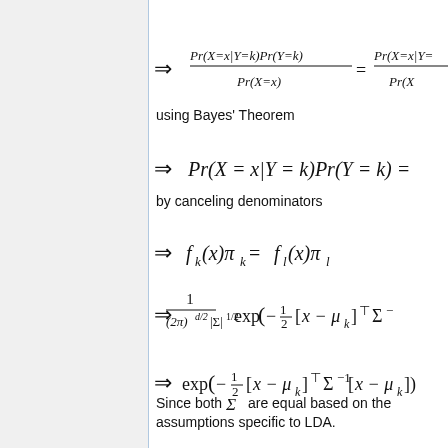using Bayes' Theorem
by canceling denominators
Since both Σ are equal based on the assumptions specific to LDA.
taking the log of both sides.